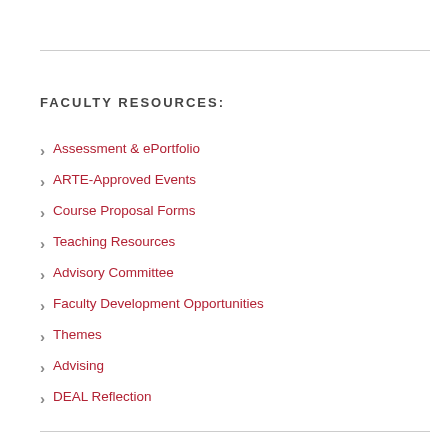FACULTY RESOURCES:
Assessment & ePortfolio
ARTE-Approved Events
Course Proposal Forms
Teaching Resources
Advisory Committee
Faculty Development Opportunities
Themes
Advising
DEAL Reflection